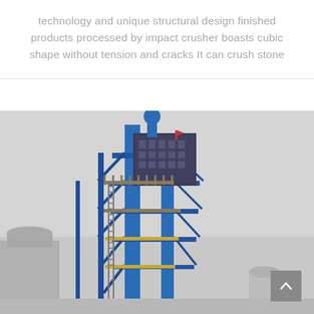technology and unique structural design finished products processed by impact crusher boasts cubic shape without tension and cracks It can crush stone
[Figure (photo): Industrial facility photograph showing a tall blue steel tower/structure with scaffolding, platforms and pipes against a grey overcast sky. The structure appears to be a crusher or processing plant. Additional industrial buildings visible at the lower edges. A grey scroll-to-top button is visible in the bottom right corner.]